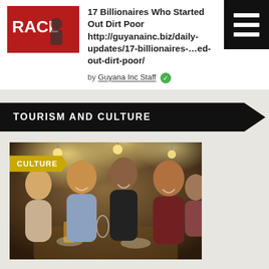17 Billionaires Who Started Out Dirt Poor http://guyanainc.biz/daily-updates/17-billionaires-...ed-out-dirt-poor/
by Guyana Inc Staff
TOURISM AND CULTURE
[Figure (photo): People laughing and socializing at a restaurant dining table with food and drinks]
14 Dining Etiquette Rules You Need To Know